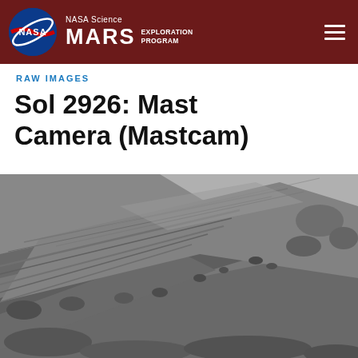NASA Science MARS EXPLORATION PROGRAM
RAW IMAGES
Sol 2926: Mast Camera (Mastcam)
[Figure (photo): Grayscale raw image from the Mars Curiosity rover Mast Camera (Mastcam) showing layered rocky Martian surface terrain with sedimentary rock formations and scattered boulders, sol 2926.]